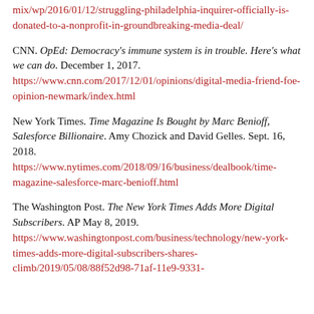mix/wp/2016/01/12/struggling-philadelphia-inquirer-officially-is-donated-to-a-nonprofit-in-groundbreaking-media-deal/
CNN. OpEd: Democracy's immune system is in trouble. Here's what we can do. December 1, 2017. https://www.cnn.com/2017/12/01/opinions/digital-media-friend-foe-opinion-newmark/index.html
New York Times. Time Magazine Is Bought by Marc Benioff, Salesforce Billionaire. Amy Chozick and David Gelles. Sept. 16, 2018. https://www.nytimes.com/2018/09/16/business/dealbook/time-magazine-salesforce-marc-benioff.html
The Washington Post. The New York Times Adds More Digital Subscribers. AP May 8, 2019. https://www.washingtonpost.com/business/technology/new-york-times-adds-more-digital-subscribers-shares-climb/2019/05/08/88f52d98-71af-11e9-9331-